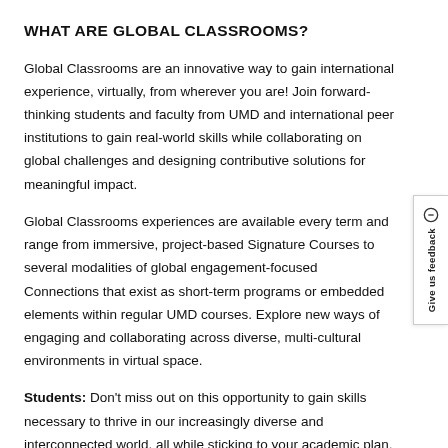WHAT ARE GLOBAL CLASSROOMS?
Global Classrooms are an innovative way to gain international experience, virtually, from wherever you are! Join forward-thinking students and faculty from UMD and international peer institutions to gain real-world skills while collaborating on global challenges and designing contributive solutions for meaningful impact.
Global Classrooms experiences are available every term and range from immersive, project-based Signature Courses to several modalities of global engagement-focused Connections that exist as short-term programs or embedded elements within regular UMD courses. Explore new ways of engaging and collaborating across diverse, multi-cultural environments in virtual space.
Students: Don't miss out on this opportunity to gain skills necessary to thrive in our increasingly diverse and interconnected world, all while sticking to your academic plan. Talk to your advisor to see how Global Classrooms can fit into your schedule.